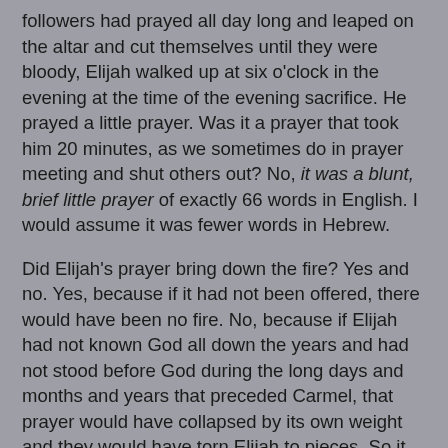followers had prayed all day long and leaped on the altar and cut themselves until they were bloody, Elijah walked up at six o'clock in the evening at the time of the evening sacrifice. He prayed a little prayer. Was it a prayer that took him 20 minutes, as we sometimes do in prayer meeting and shut others out? No, it was a blunt, brief little prayer of exactly 66 words in English. I would assume it was fewer words in Hebrew.
Did Elijah's prayer bring down the fire? Yes and no. Yes, because if it had not been offered, there would have been no fire. No, because if Elijah had not known God all down the years and had not stood before God during the long days and months and years that preceded Carmel, that prayer would have collapsed by its own weight and they would have torn Elijah to pieces. So it was not on Mount Carmel that Baal was defeated; it was on mount Gilead. Remember, it was from Gilead that Elijah came.
I always feel that I am a better man for reading this story about how that great, shaggy, hairy man dressed in the simple rustic garb of the peasant came down boldly, staring